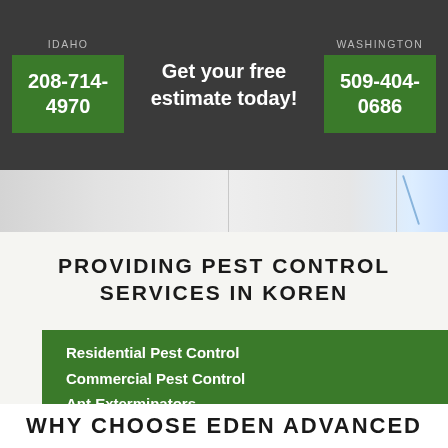IDAHO | Get your free estimate today! | WASHINGTON
208-714-4970
509-404-0686
[Figure (map): Partial map background strip]
PROVIDING PEST CONTROL SERVICES IN KOREN
Residential Pest Control
Commercial Pest Control
Ant Exterminators
Rodent Exterminators
Gopher Control
WHY CHOOSE EDEN ADVANCED